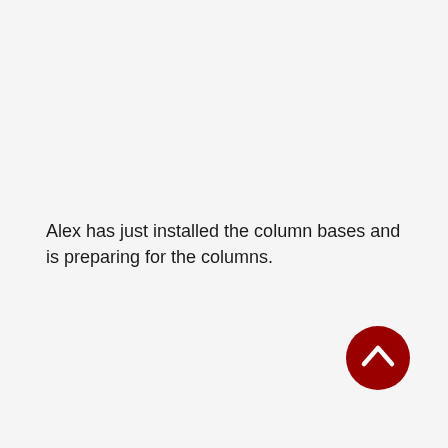Alex has just installed the column bases and is preparing for the columns.
[Figure (other): Dark red circular button with upward-pointing chevron arrow icon]